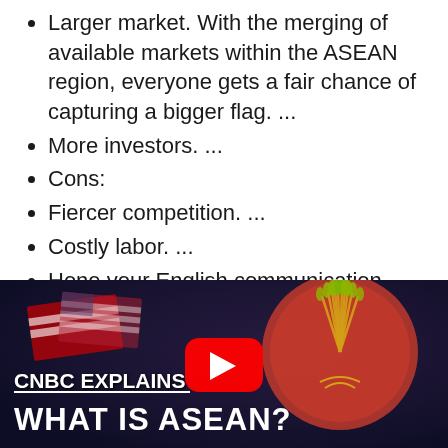Larger market. With the merging of available markets within the ASEAN region, everyone gets a fair chance of capturing a bigger flag. ...
More investors. ...
Cons:
Fiercer competition. ...
Costly labor. ...
Hone your English communication skills. ...
Go for their markets.
[Figure (screenshot): YouTube video thumbnail showing 'CNBC Explains: What is ASEAN?' with ASEAN emblem and flags in background, YouTube play button overlay]